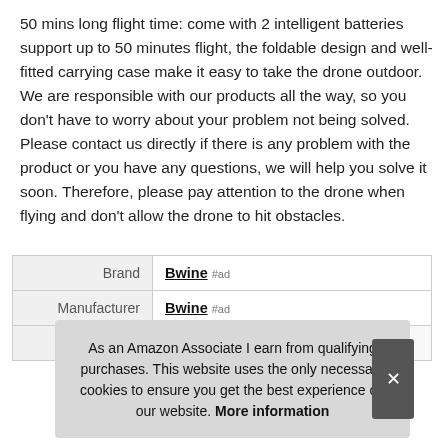50 mins long flight time: come with 2 intelligent batteries support up to 50 minutes flight, the foldable design and well-fitted carrying case make it easy to take the drone outdoor. We are responsible with our products all the way, so you don't have to worry about your problem not being solved. Please contact us directly if there is any problem with the product or you have any questions, we will help you solve it soon. Therefore, please pay attention to the drone when flying and don't allow the drone to hit obstacles.
| Brand | Bwine #ad |
| Manufacturer | Bwine #ad |
| Part Number | F7 |
As an Amazon Associate I earn from qualifying purchases. This website uses the only necessary cookies to ensure you get the best experience on our website. More information